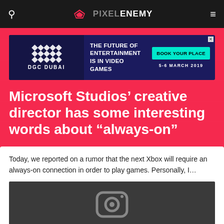PIXEL ENEMY
[Figure (screenshot): DGC Dubai advertisement banner: 'The Future of Entertainment is in Video Games - Book Your Place 5-6 March 2019']
Microsoft Studios’ creative director has some interesting words about “always-on”
Today, we reported on a rumor that the next Xbox will require an always-on connection in order to play games. Personally, I…
[Figure (screenshot): Dark thumbnail image showing an Instagram-style camera icon]